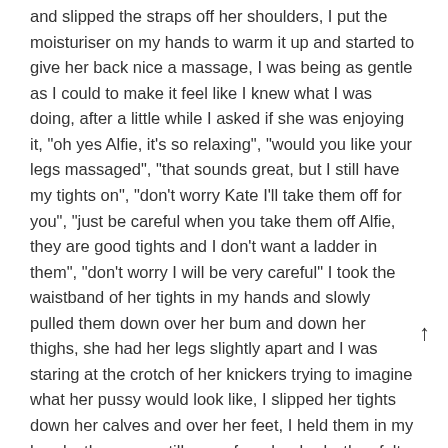and slipped the straps off her shoulders, I put the moisturiser on my hands to warm it up and started to give her back nice a massage, I was being as gentle as I could to make it feel like I knew what I was doing, after a little while I asked if she was enjoying it, "oh yes Alfie, it's so relaxing", "would you like your legs massaged", "that sounds great, but I still have my tights on", "don't worry Kate I'll take them off for you", "just be careful when you take them off Alfie, they are good tights and I don't want a ladder in them", "don't worry I will be very careful" I took the waistband of her tights in my hands and slowly pulled them down over her bum and down her thighs, she had her legs slightly apart and I was staring at the crotch of her knickers trying to imagine what her pussy would look like, I slipped her tights down her calves and over her feet, I held them in my hands, they were still warm from her body, they felt so nice and I wanted to feel them a bit